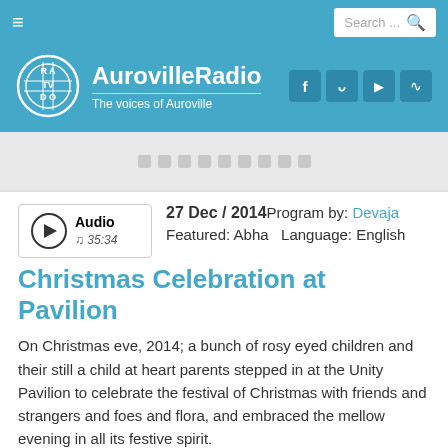AurovilleRadio – The voices of Auroville
27 Dec / 2014 Program by: Devaja Featured: Abha   Language: English
Christmas Celebration at Pavilion
On Christmas eve, 2014; a bunch of rosy eyed children and their still a child at heart parents stepped in at the Unity Pavilion to celebrate the festival of Christmas with friends and strangers and foes and flora, and embraced the mellow evening in all its festive spirit.
Aurovilians, Volunteers and enthusiastic guests sat